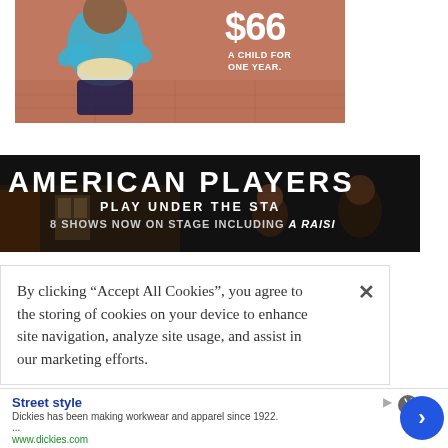[Figure (photo): Partial view of a child in a blue shirt holding a bowl of food, with peach/salmon background and large white '$66' text with 'A CHILD FOR ONE YEAR.' text in the upper right corner. Part of a charity advertisement.]
[Figure (photo): American Players Theatre advertisement banner on dark/black background. Text reads 'AMERICAN PLAYERS' in large bold white letters, 'PLAY UNDER THE STA[RS]' below, and '8 SHOWS NOW ON STAGE INCLUDING A RAISI[N IN THE SUN]'. Stage scene visible in background.]
By clicking “Accept All Cookies”, you agree to the storing of cookies on your device to enhance site navigation, analyze site usage, and assist in our marketing efforts.
[Figure (screenshot): Bottom advertisement banner for Dickies. Shows 'Street style' title in blue, description text 'Dickies has been making workwear and apparel since 1922. ...' and URL 'www.dickies.com' in green. Has a close (X) button and a blue circular arrow/chevron button on the right.]